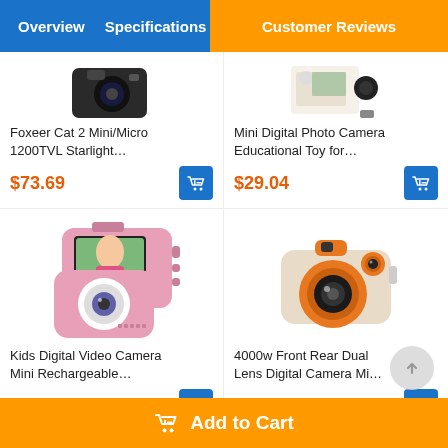Overview  Specifications  |  Customer Reviews
[Figure (photo): Foxeer Cat 2 Mini/Micro 1200TVL Starlight camera product image (partial, top cropped)]
Foxeer Cat 2 Mini/Micro 1200TVL Starlight...
$73.69
[Figure (photo): Mini Digital Photo Camera Educational Toy product image (partial, top cropped)]
Mini Digital Photo Camera Educational Toy for...
$29.04
[Figure (photo): Pink kids digital video camera with screen showing girl]
Kids Digital Video Camera Mini Rechargeable...
$15.94
[Figure (photo): Beige and orange compact kids digital camera]
4000w Front Rear Dual Lens Digital Camera Mi...
$25.14
Goto Top
Add to Cart